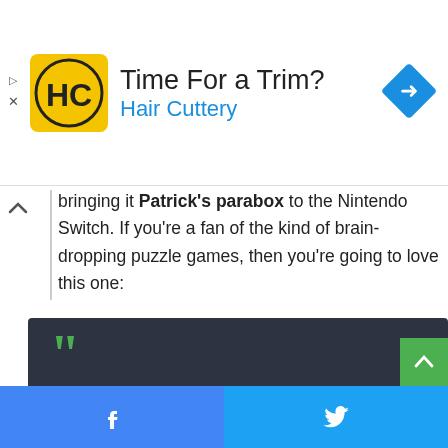[Figure (advertisement): Hair Cuttery ad banner with yellow HC logo, text 'Time For a Trim?' and 'Hair Cuttery', and a blue diamond direction arrow icon on the right]
bringing it Patrick's parabox to the Nintendo Switch. If you're a fan of the kind of brain-dropping puzzle games, then you're going to love this one:
Patrick's Parabox is an award-winning puzzle game that explores a unique recursive system of boxes within boxes within boxes within boxes. Learn to manipulate the structure of the world by sliding
[Figure (infographic): Dark grey blockquote box with green quotation marks and italic white text about Patrick's Parabox]
Facebook share | Twitter share